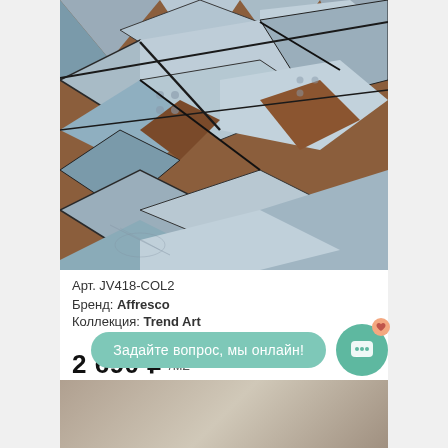[Figure (photo): Product photo of geometric 3D wall panel with grey and brown triangular and diamond shapes, textured surface, art deco style]
Арт. JV418-COL2
Бренд: Affresco
Коллекция: Trend Art
2 690 ₽ /м2
Задайте вопрос, мы онлайн!
[Figure (photo): Partial preview of another product image at the bottom of the page]